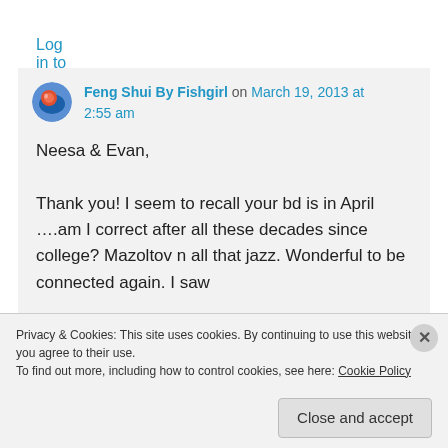Log in to Reply
Feng Shui By Fishgirl on March 19, 2013 at 2:55 am
Neesa & Evan,

Thank you! I seem to recall your bd is in April ....am I correct after all these decades since college? Mazoltov n all that jazz. Wonderful to be connected again. I saw
Privacy & Cookies: This site uses cookies. By continuing to use this website, you agree to their use.
To find out more, including how to control cookies, see here: Cookie Policy
Close and accept